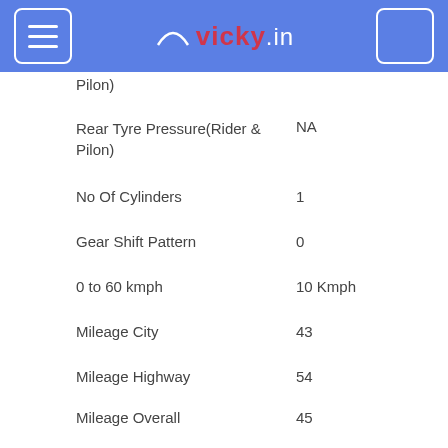vicky.in
Pilon)
| Specification | Value |
| --- | --- |
| Rear Tyre Pressure(Rider & Pilon) | NA |
| No Of Cylinders | 1 |
| Gear Shift Pattern | 0 |
| 0 to 60 kmph | 10 Kmph |
| Mileage City | 43 |
| Mileage Highway | 54 |
| Mileage Overall | 45 |